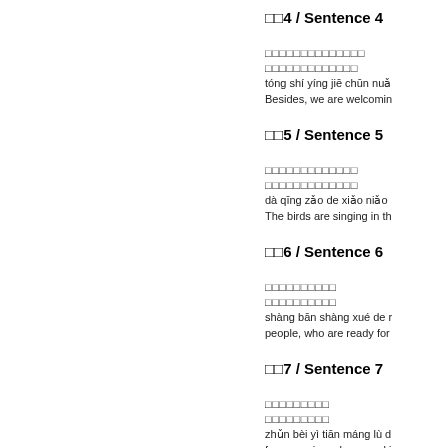句4 / Sentence 4
□□□□□□□□□□□□□□
□□□□□□□□□□□□□
tóng shí yíng jiē chūn nuǎ
Besides, we are welcomin
句5 / Sentence 5
□□□□□□□□□□□□□
□□□□□□□□□□□□□
dà qīng zǎo de xiǎo niǎo
The birds are singing in th
句6 / Sentence 6
□□□□□□□□□□
□□□□□□□□□□
shàng bān shàng xué de r
people, who are ready for
句7 / Sentence 7
□□□□□□□□□
□□□□□□□□□
zhǔn bèi yì tiān máng lù d
for preparing a busy worki
句8 / Sentence 8